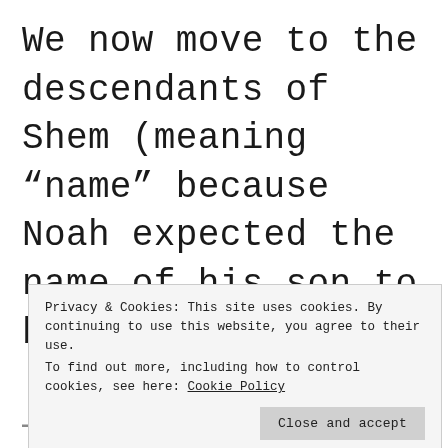We now move to the descendants of Shem (meaning “name” because Noah expected the name of his son to become
[Figure (screenshot): Cookie consent banner overlay on webpage. Text reads: 'Privacy & Cookies: This site uses cookies. By continuing to use this website, you agree to their use. To find out more, including how to control cookies, see here: Cookie Policy'. Has a 'Close and accept' button.]
(partial bottom line of page text, clipped)